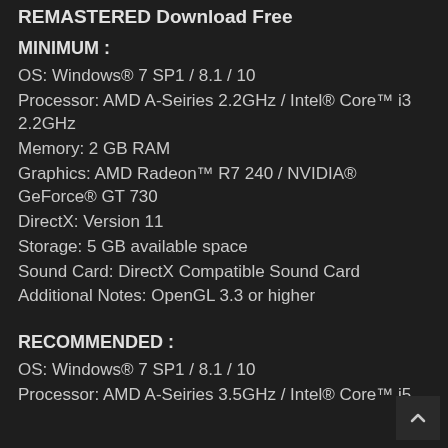REMASTERED Download Free
MINIMUM :
OS: Windows® 7 SP1 / 8.1 / 10
Processor: AMD A-Seiries 2.2GHz / Intel® Core™ i3 2.2GHz
Memory: 2 GB RAM
Graphics: AMD Radeon™ R7 240 / NVIDIA® GeForce® GT 730
DirectX: Version 11
Storage: 5 GB available space
Sound Card: DirectX Compatible Sound Card
Additional Notes: OpenGL 3.3 or higher
RECOMMENDED :
OS: Windows® 7 SP1 / 8.1 / 10
Processor: AMD A-Seiries 3.5GHz / Intel® Core™ i5